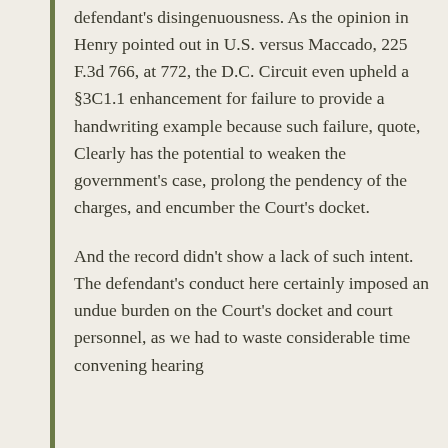defendant's disingenuousness. As the opinion in Henry pointed out in U.S. versus Maccado, 225 F.3d 766, at 772, the D.C. Circuit even upheld a §3C1.1 enhancement for failure to provide a handwriting example because such failure, quote, Clearly has the potential to weaken the government's case, prolong the pendency of the charges, and encumber the Court's docket.
And the record didn't show a lack of such intent. The defendant's conduct here certainly imposed an undue burden on the Court's docket and court personnel, as we had to waste considerable time convening hearing